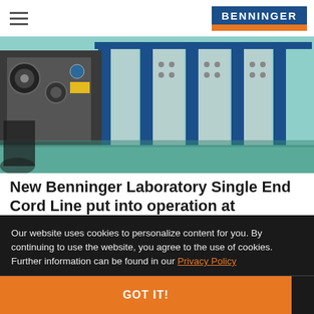BENNINGER
[Figure (photo): Industrial laboratory machinery — Single End Cord Line equipment with blue metal frames, rollers, and spools in a facility with teal/green flooring]
New Benninger Laboratory Single End Cord Line put into operation at Intercord
Our website uses cookies to personalize content for you. By continuing to use the website, you agree to the use of cookies. Further information can be found in our Privacy Policy
GOT IT!